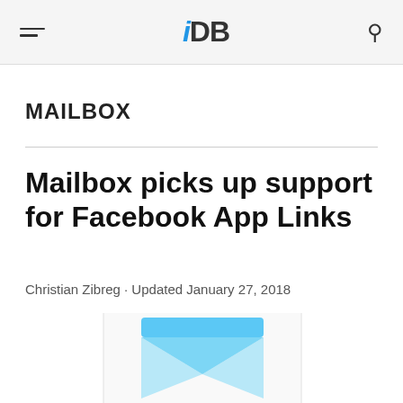iDB
MAILBOX
Mailbox picks up support for Facebook App Links
Christian Zibreg · Updated January 27, 2018
[Figure (illustration): Partial view of the Mailbox app icon showing a rounded rectangle with a stylized envelope/mailbox shape in light blue tones on white background]